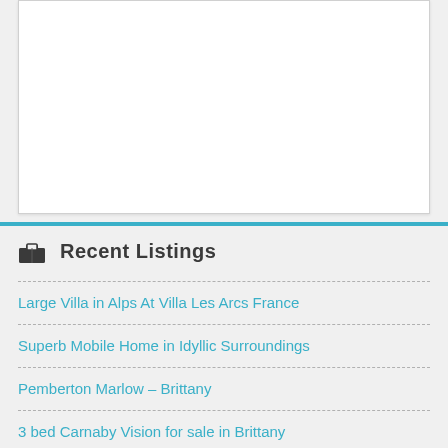[Figure (other): White content box area at top of page]
Recent Listings
Large Villa in Alps At Villa Les Arcs France
Superb Mobile Home in Idyllic Surroundings
Pemberton Marlow – Brittany
3 bed Carnaby Vision for sale in Brittany